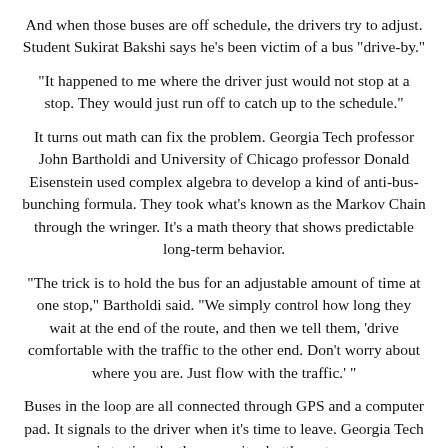And when those buses are off schedule, the drivers try to adjust. Student Sukirat Bakshi says he's been victim of a bus "drive-by."
“It happened to me where the driver just would not stop at a stop. They would just run off to catch up to the schedule.”
It turns out math can fix the problem. Georgia Tech professor John Bartholdi and University of Chicago professor Donald Eisenstein used complex algebra to develop a kind of anti-bus-bunching formula. They took what’s known as the Markov Chain through the wringer. It’s a math theory that shows predictable long-term behavior.
“The trick is to hold the bus for an adjustable amount of time at one stop,” Bartholdi said. “We simply control how long they wait at the end of the route, and then we tell them, 'drive comfortable with the traffic to the other end. Don’t worry about where you are. Just flow with the traffic.' ”
Buses in the loop are all connected through GPS and a computer pad. It signals to the driver when it’s time to leave. Georgia Tech is testing the theory on its shuttle system.
“This tells me exactly when it’s time to go, and the communication between each other is done automatically, so it takes a lot of stress